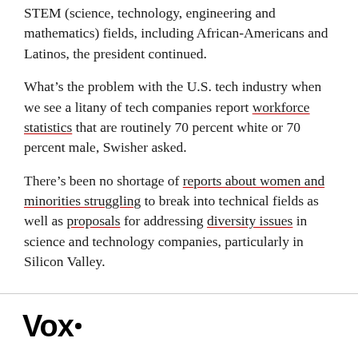STEM (science, technology, engineering and mathematics) fields, including African-Americans and Latinos, the president continued.
What’s the problem with the U.S. tech industry when we see a litany of tech companies report workforce statistics that are routinely 70 percent white or 70 percent male, Swisher asked.
There’s been no shortage of reports about women and minorities struggling to break into technical fields as well as proposals for addressing diversity issues in science and technology companies, particularly in Silicon Valley.
Vox